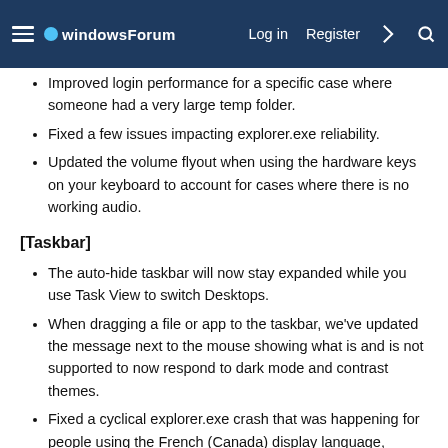windowsForum  Log in  Register
Improved login performance for a specific case where someone had a very large temp folder.
Fixed a few issues impacting explorer.exe reliability.
Updated the volume flyout when using the hardware keys on your keyboard to account for cases where there is no working audio.
[Taskbar]
The auto-hide taskbar will now stay expanded while you use Task View to switch Desktops.
When dragging a file or app to the taskbar, we've updated the message next to the mouse showing what is and is not supported to now respond to dark mode and contrast themes.
Fixed a cyclical explorer.exe crash that was happening for people using the French (Canada) display language, related to the battery icon tooltip.
Updated the mute icon in the taskbar so that the tooltip now gives a hint for the keyboard shortcut (WIN + Alt + K).